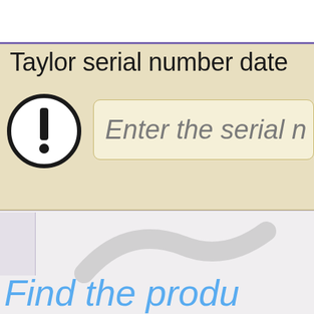[Figure (screenshot): Screenshot of a web application showing a Taylor serial number date lookup tool. There is a beige/tan panel at the top with a purple top border, containing the title 'Taylor serial number date' and an input field with placeholder text 'Enter the serial n'. A warning/info icon (exclamation mark in a circle) is shown to the left of the input field. Below is a gray content area with a watermark logo and blue italic text 'Find the produ' partially visible.]